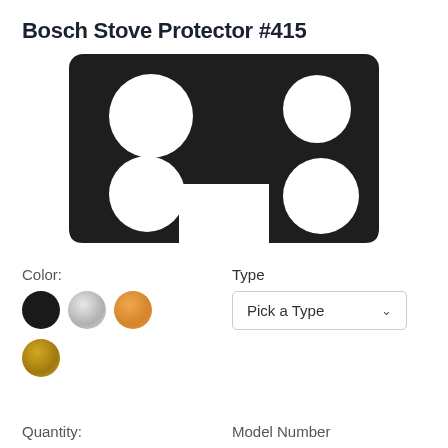Bosch Stove Protector #415
[Figure (illustration): Black stove protector mat with four circular cutouts for burners, with a U-shaped notch cut out at the bottom center, viewed from above.]
Color:
Type
Pick a Type
Quantity:
Model Number